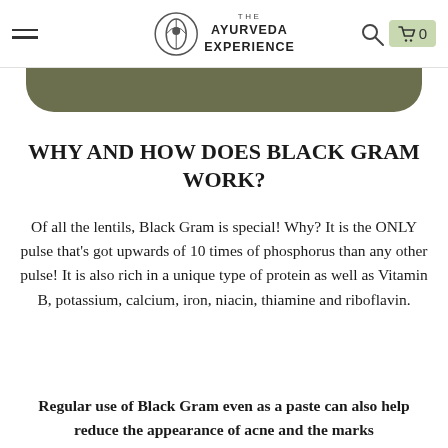The Ayurveda Experience
WHY AND HOW DOES BLACK GRAM WORK?
Of all the lentils, Black Gram is special! Why? It is the ONLY pulse that's got upwards of 10 times of phosphorus than any other pulse! It is also rich in a unique type of protein as well as Vitamin B, potassium, calcium, iron, niacin, thiamine and riboflavin.
Regular use of Black Gram even as a paste can also help reduce the appearance of acne and the marks